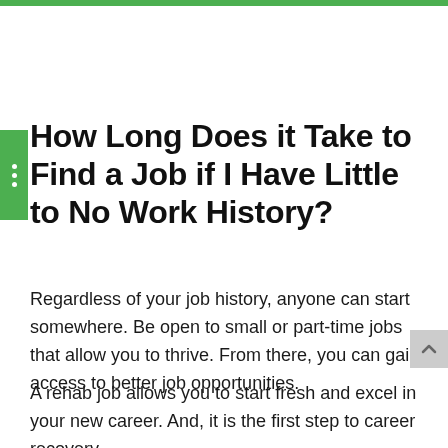How Long Does it Take to Find a Job if I Have Little to No Work History?
Regardless of your job history, anyone can start somewhere. Be open to small or part-time jobs that allow you to thrive. From there, you can gain access to better job opportunities.
A rehab job allows you to start fresh and excel in your new career. And, it is the first step to career recovery.